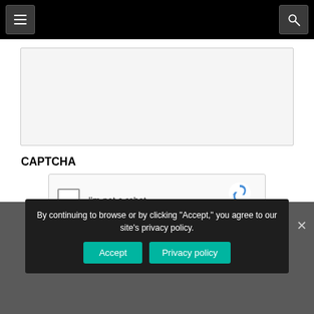Navigation bar with hamburger menu and search button
[Figure (screenshot): Empty textarea input box with light gray background]
CAPTCHA
[Figure (screenshot): reCAPTCHA widget with checkbox 'I'm not a robot' and reCAPTCHA logo with Privacy and Terms links]
By continuing to browse or by clicking "Accept," you agree to our site's privacy policy.
Accept
Privacy policy